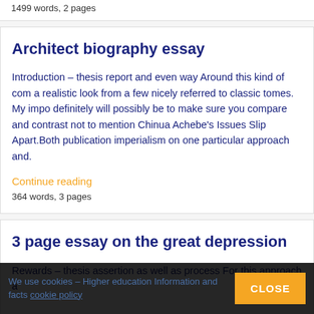1499 words, 2 pages
Architect biography essay
Introduction – thesis report and even way Around this kind of com a realistic look from a few nicely referred to classic tomes. My impo definitely will possibly be to make sure you compare and contrast not to mention Chinua Achebe's Issues Slip Apart.Both publication imperialism on one particular approach and.
Continue reading
364 words, 3 pages
3 page essay on the great depression
Rewards – thesis assertion as well as process For this approach a
We use cookies – Higher education Information and facts cookie policy CLOSE